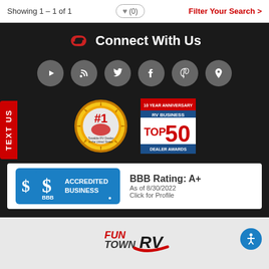Showing 1 – 1 of 1   ♥ (0)   Filter Your Search >
Connect With Us
[Figure (infographic): Social media icons row: YouTube, RSS, Twitter, Facebook, Pinterest, Location pin — all in gray circles on dark background]
[Figure (logo): #1 Towable RV Dealer in the United States gold badge]
[Figure (logo): RV Business Top 50 Dealer Awards 10 Year Anniversary badge]
[Figure (infographic): BBB Accredited Business logo with BBB Rating: A+, As of 8/30/2022, Click for Profile]
TEXT US
[Figure (logo): Fun Town RV logo]